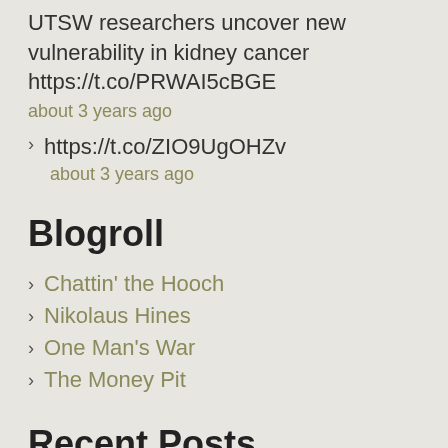UTSW researchers uncover new vulnerability in kidney cancer https://t.co/PRWAI5cBGE
about 3 years ago
https://t.co/ZIO9UgOHZv
about 3 years ago
Blogroll
Chattin' the Hooch
Nikolaus Hines
One Man's War
The Money Pit
Recent Posts
Ideas, Please!